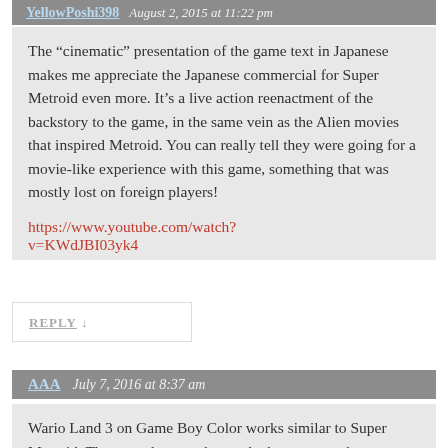YellowPoshi398  August 2, 2015 at 11:22 pm
The “cinematic” presentation of the game text in Japanese makes me appreciate the Japanese commercial for Super Metroid even more. It’s a live action reenactment of the backstory to the game, in the same vein as the Alien movies that inspired Metroid. You can really tell they were going for a movie-like experience with this game, something that was mostly lost on foreign players!
https://www.youtube.com/watch?v=KWdJBI03yk4
REPLY ↓
AAA  July 7, 2016 at 8:37 am
Wario Land 3 on Game Boy Color works similar to Super Metroid. The game let you choose the language at the beginning in both